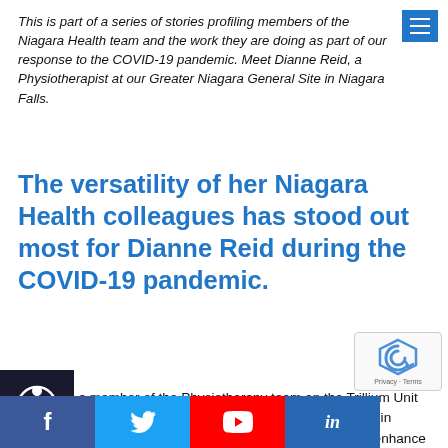This is part of a series of stories profiling members of the Niagara Health team and the work they are doing as part of our response to the COVID-19 pandemic. Meet Dianne Reid, a Physiotherapist at our Greater Niagara General Site in Niagara Falls.
The versatility of her Niagara Health colleagues has stood out most for Dianne Reid during the COVID-19 pandemic.
Dianne is a member of the Physiotherapy team on the Trillium Unit (Complex Care) at our Greater Niagara General (GNG) Site in Niagara Falls. The goal of the Complex Care program is to enhance the health, functioning and quality of life of patients, and support them to meet specific goals to transition back into the community. Patients are cared for by a multidisciplinary team, including physiotherapists like Dianne.